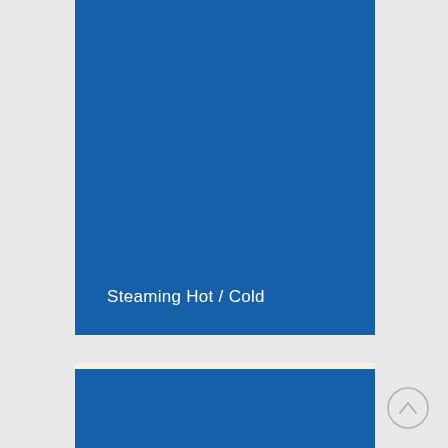[Figure (illustration): Large blue card/panel with white text reading 'Steaming Hot / Cold' near the bottom left, on a light grey background]
[Figure (illustration): Partial blue card/panel visible at bottom, with a circular scroll-up arrow button in the bottom right corner]